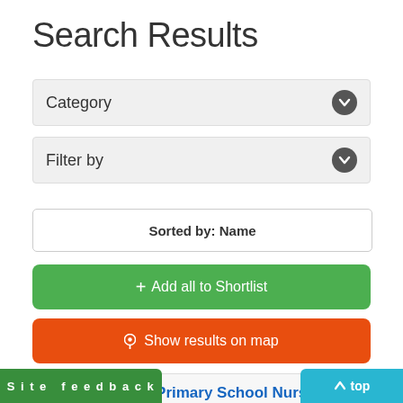Search Results
Category
Filter by
Sorted by: Name
+ Add all to Shortlist
Show results on map
St Nicholas Primary School Nursery class
Nursery Schools and Classes
Marston, Oxford, Oxfordshire, OX2 0PJ
Site feedback
top